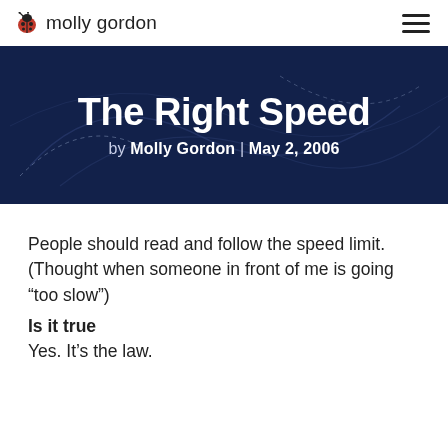molly gordon
The Right Speed
by Molly Gordon | May 2, 2006
People should read and follow the speed limit. (Thought when someone in front of me is going "too slow")
Is it true
Yes. It's the law.